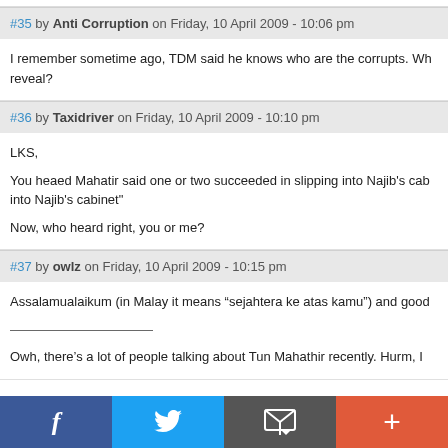#35 by Anti Corruption on Friday, 10 April 2009 - 10:06 pm
I remember sometime ago, TDM said he knows who are the corrupts. Wh reveal?
#36 by Taxidriver on Friday, 10 April 2009 - 10:10 pm
LKS,

You heaed Mahatir said one or two succeeded in slipping into Najib's cab into Najib's cabinet"

Now, who heard right, you or me?
#37 by owlz on Friday, 10 April 2009 - 10:15 pm
Assalamualaikum (in Malay it means “sejahtera ke atas kamu”) and good
________________________
Owh, there’s a lot of people talking about Tun Mahathir recently. Hurm, I
Facebook | Twitter | Email | More